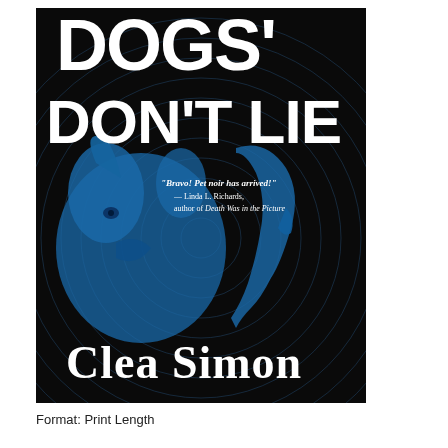[Figure (illustration): Book cover of 'Dogs Don't Lie' by Clea Simon. Dark background with concentric circular lines (like radar/sonar rings) in blue and white. A blue-tinted dog (or cat) face on the left side and a human face profile on the right side are prominently featured. Large white bold text reads 'DOGS' at the top (partially cropped) and 'DON'T LIE' below it. A quote reads: 'Bravo! Pet noir has arrived!' — Linda L. Richards, author of Death Was in the Picture. Author name 'Clea Simon' appears in large white serif text at the bottom.]
Format: Print Length